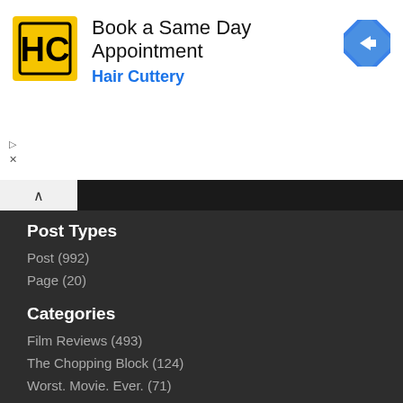[Figure (screenshot): Hair Cuttery advertisement banner with logo, 'Book a Same Day Appointment' text, 'Hair Cuttery' brand name, and navigation/direction icon]
Post Types
Post (992)
Page (20)
Categories
Film Reviews (493)
The Chopping Block (124)
Worst. Movie. Ever. (71)
TV Reviews (70)
The Vault (57)
Tags
Horror Movie (350)